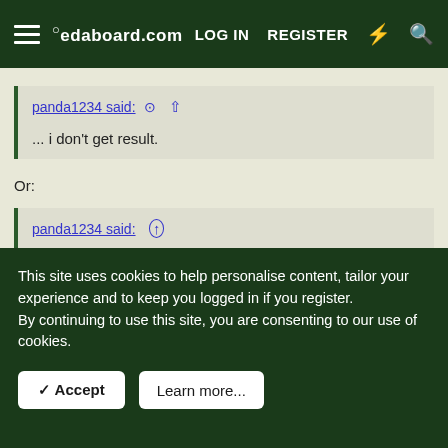edaboard.com | LOG IN | REGISTER
panda1234 said: ↑
... i don't get result.
Or:
panda1234 said: ↑
... this code still not work.
This site uses cookies to help personalise content, tailor your experience and to keep you logged in if you register.
By continuing to use this site, you are consenting to our use of cookies.